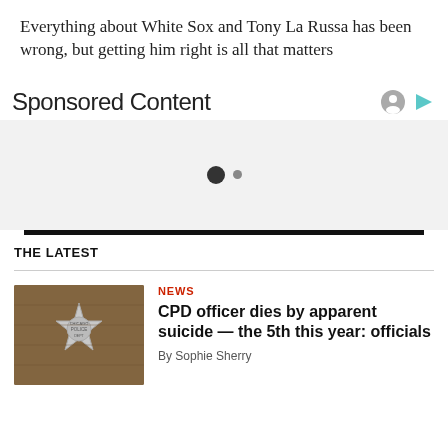Everything about White Sox and Tony La Russa has been wrong, but getting him right is all that matters
Sponsored Content
[Figure (other): Sponsored content ad placeholder with loading dots]
THE LATEST
[Figure (photo): Chicago police badge star photo]
NEWS
CPD officer dies by apparent suicide — the 5th this year: officials
By Sophie Sherry